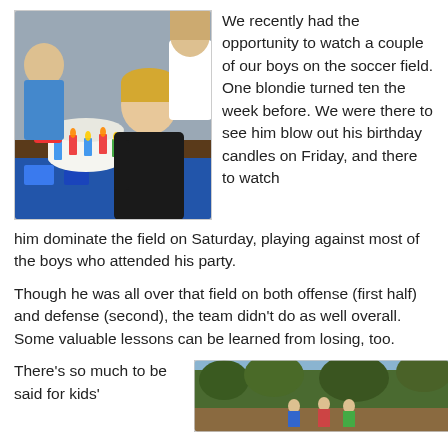[Figure (photo): Boy blowing out birthday candles at a party, surrounded by other children, with a decorated cake in front of him.]
We recently had the opportunity to watch a couple of our boys on the soccer field. One blondie turned ten the week before. We were there to see him blow out his birthday candles on Friday, and there to watch him dominate the field on Saturday, playing against most of the boys who attended his party.
Though he was all over that field on both offense (first half) and defense (second), the team didn't do as well overall. Some valuable lessons can be learned from losing, too.
There's so much to be said for kids'
[Figure (photo): Children outdoors in a nature/hiking setting with trees and rocks visible.]